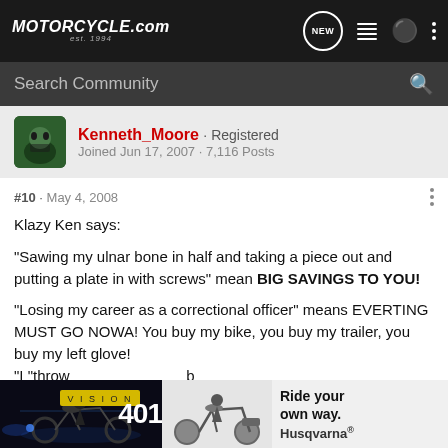MOTORCYCLE.COM est. 1994
Search Community
Kenneth_Moore · Registered
Joined Jun 17, 2007 · 7,116 Posts
#10 · May 4, 2008
Klazy Ken says:

"Sawing my ulnar bone in half and taking a piece out and putting a plate in with screws" mean BIG SAVINGS TO YOU!

"Losing my career as a correctional officer" means EVERTING MUST GO NOWA! You buy my bike, you buy my trailer, you buy my left glove!

"I "throw... EXTRA
[Figure (photo): Advertisement banner: left side shows motorcycle rider at night, center shows '401' text overlay, right side shows Husqvarna motorcycle with 'Ride your own way. Husqvarna' text]